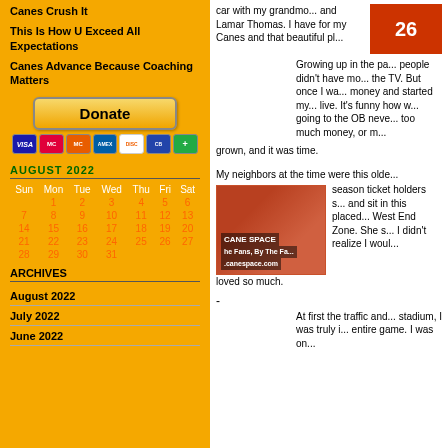Canes Crush It
This Is How U Exceed All Expectations
Canes Advance Because Coaching Matters
[Figure (other): PayPal Donate button with credit card icons (Visa, Mastercard, Amex, Discover, etc.)]
AUGUST 2022
| Sun | Mon | Tue | Wed | Thu | Fri | Sat |
| --- | --- | --- | --- | --- | --- | --- |
|  | 1 | 2 | 3 | 4 | 5 | 6 |
| 7 | 8 | 9 | 10 | 11 | 12 | 13 |
| 14 | 15 | 16 | 17 | 18 | 19 | 20 |
| 21 | 22 | 23 | 24 | 25 | 26 | 27 |
| 28 | 29 | 30 | 31 |  |  |  |
ARCHIVES
August 2022
July 2022
June 2022
car with my grandmo... and Lamar Thomas. I have for my Canes and that beautiful pl...
Growing up in the pa... people didn't have mo... the TV. But once I wa... money and started my... live. It's funny how w... going to the OB neve... too much money, or m... grown, and it was time.
My neighbors at the time were this olde... season ticket holders s... and sit in this placed... West End Zone. She s... I didn't realize I woul... loved so much.
-
At first the traffic and... stadium, I was truly i... entire game. I was on...